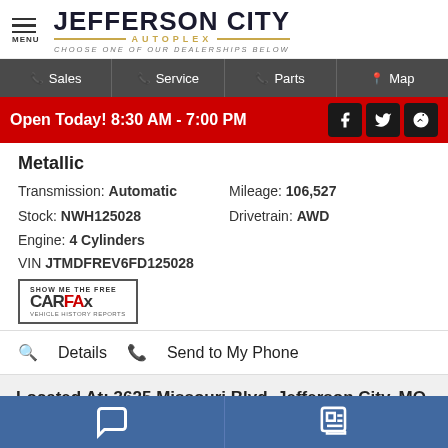[Figure (logo): Jefferson City Autoplex logo with menu icon, company name, gold autoplex text, and tagline 'Choose one of our dealerships below']
Sales | Service | Parts | Map
Open Today! 8:30 AM - 7:00 PM
Metallic
Transmission: Automatic | Mileage: 106,527 | Stock: NWH125028 | Drivetrain: AWD | Engine: 4 Cylinders
VIN JTMDFREV6FD125028
[Figure (logo): Show Me The Free CARFAX Vehicle History Reports badge]
Details | Send to My Phone
Located At: 3625 Missouri Blvd, Jefferson City, MO 65109 - 573-893-7676